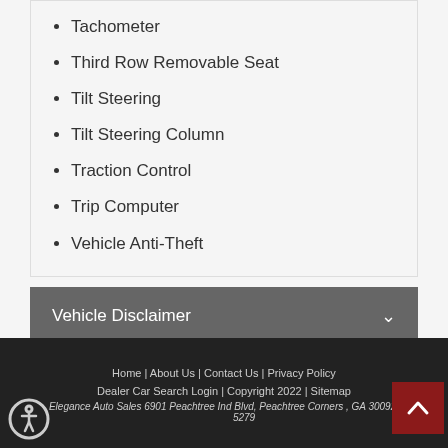Tachometer
Third Row Removable Seat
Tilt Steering
Tilt Steering Column
Traction Control
Trip Computer
Vehicle Anti-Theft
Vehicle Disclaimer
Send to a friend
Home | About Us | Contact Us | Privacy Policy Dealer Car Search Login | Copyright 2022 | Sitemap Elegance Auto Sales 6901 Peachtree Ind Blvd, Peachtree Corners , GA 30092 404-468-5279